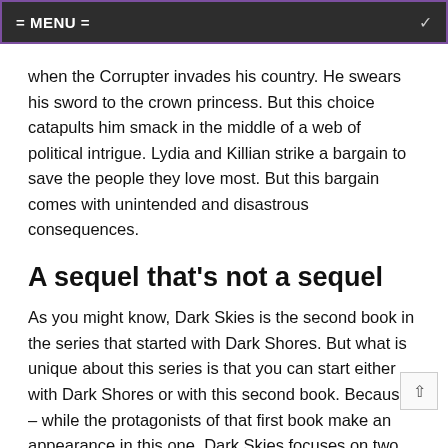= MENU =
when the Corrupter invades his country. He swears his sword to the crown princess. But this choice catapults him smack in the middle of a web of political intrigue. Lydia and Killian strike a bargain to save the people they love most. But this bargain comes with unintended and disastrous consequences.
A sequel that's not a sequel
As you might know, Dark Skies is the second book in the series that started with Dark Shores. But what is unique about this series is that you can start either with Dark Shores or with this second book. Because – while the protagonists of that first book make an appearance in this one, Dark Skies focuses on two other characters (Lydia and Killian).
I hadn't read the first book before picking this up and had no problems at all understanding what was going on. In fact, Dark Shores already was on my TBR list, but now I'm even more